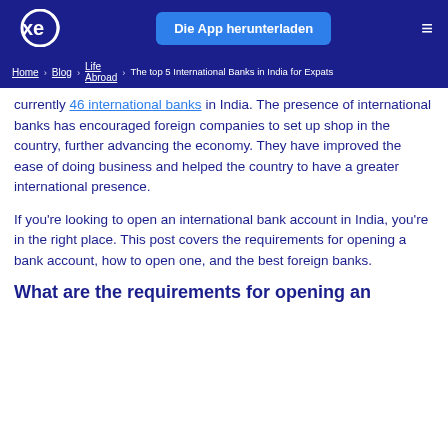xe logo | Die App herunterladen | menu
Home > Blog > Life Abroad > The top 5 International Banks in India for Expats
currently 46 international banks in India. The presence of international banks has encouraged foreign companies to set up shop in the country, further advancing the economy. They have improved the ease of doing business and helped the country to have a greater international presence.
If you're looking to open an international bank account in India, you're in the right place. This post covers the requirements for opening a bank account, how to open one, and the best foreign banks.
What are the requirements for opening an